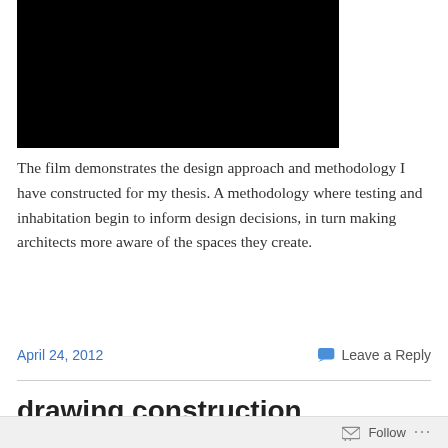[Figure (other): Black rectangle representing an embedded video player]
The film demonstrates the design approach and methodology I have constructed for my thesis. A methodology where testing and inhabitation begin to inform design decisions, in turn making architects more aware of the spaces they create.
April 24, 2012
Leave a Reply
drawing construction
Follow